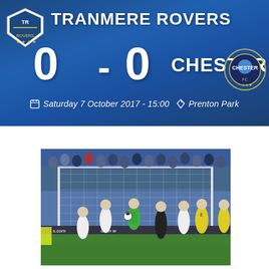TRANMERE ROVERS 0 - 0 CHESTER
Saturday 7 October 2017 - 15:00   Prenton Park
[Figure (photo): Football match action photo showing players near the goal, goalkeeper in green making a save attempt, players in white and yellow kits, referee in black, crowd in background at Prenton Park]